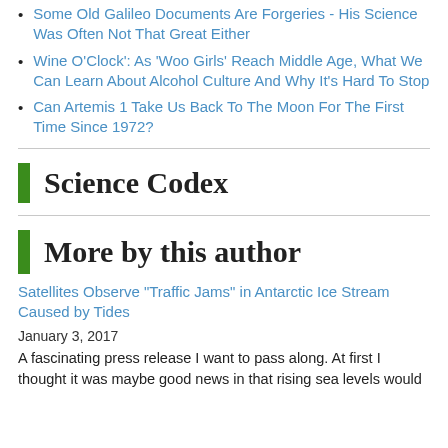Some Old Galileo Documents Are Forgeries - His Science Was Often Not That Great Either
Wine O'Clock': As 'Woo Girls' Reach Middle Age, What We Can Learn About Alcohol Culture And Why It's Hard To Stop
Can Artemis 1 Take Us Back To The Moon For The First Time Since 1972?
Science Codex
More by this author
Satellites Observe "Traffic Jams" in Antarctic Ice Stream Caused by Tides
January 3, 2017
A fascinating press release I want to pass along.  At first I thought it was maybe good news in that rising sea levels would